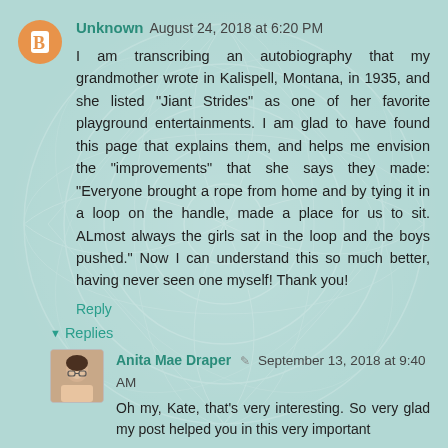Unknown August 24, 2018 at 6:20 PM
I am transcribing an autobiography that my grandmother wrote in Kalispell, Montana, in 1935, and she listed "Jiant Strides" as one of her favorite playground entertainments. I am glad to have found this page that explains them, and helps me envision the "improvements" that she says they made: "Everyone brought a rope from home and by tying it in a loop on the handle, made a place for us to sit. ALmost always the girls sat in the loop and the boys pushed." Now I can understand this so much better, having never seen one myself! Thank you!
Reply
Replies
[Figure (photo): Profile photo of Anita Mae Draper - a woman with short dark hair and glasses]
Anita Mae Draper September 13, 2018 at 9:40 AM
Oh my, Kate, that's very interesting. So very glad my post helped you in this very important